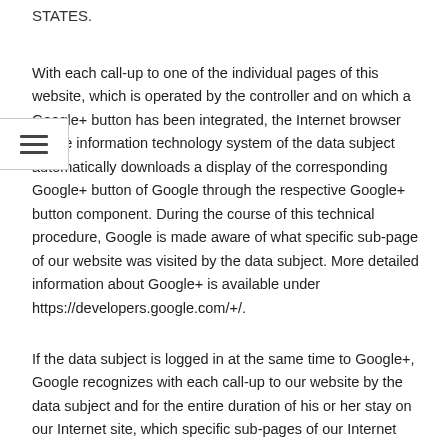STATES.
With each call-up to one of the individual pages of this website, which is operated by the controller and on which a Google+ button has been integrated, the Internet browser on the information technology system of the data subject automatically downloads a display of the corresponding Google+ button of Google through the respective Google+ button component. During the course of this technical procedure, Google is made aware of what specific sub-page of our website was visited by the data subject. More detailed information about Google+ is available under https://developers.google.com/+/.
If the data subject is logged in at the same time to Google+, Google recognizes with each call-up to our website by the data subject and for the entire duration of his or her stay on our Internet site, which specific sub-pages of our Internet page were